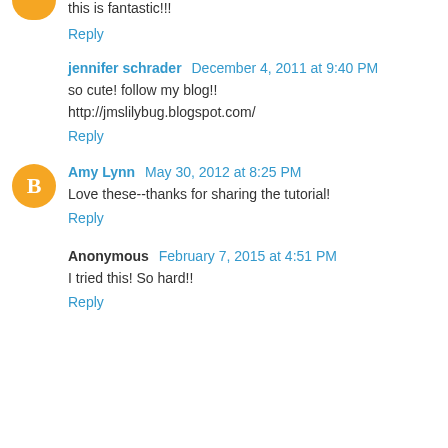this is fantastic!!!
Reply
jennifer schrader December 4, 2011 at 9:40 PM
so cute! follow my blog!!
http://jmslilybug.blogspot.com/
Reply
Amy Lynn May 30, 2012 at 8:25 PM
Love these--thanks for sharing the tutorial!
Reply
Anonymous February 7, 2015 at 4:51 PM
I tried this! So hard!!
Reply